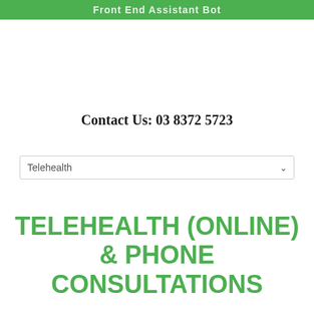Front End Assistant Bot
Contact Us: 03 8372 5723
Telehealth
TELEHEALTH (ONLINE) & PHONE CONSULTATIONS